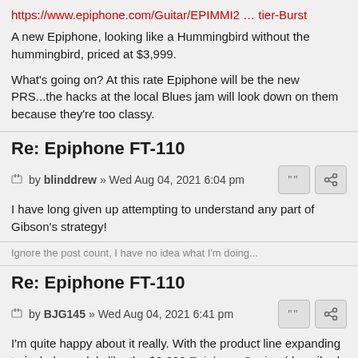https://www.epiphone.com/Guitar/EPIMMI2 … tier-Burst
A new Epiphone, looking like a Hummingbird without the hummingbird, priced at $3,999.
What's going on? At this rate Epiphone will be the new PRS...the hacks at the local Blues jam will look down on them because they're too classy.
Re: Epiphone FT-110
by blinddrew » Wed Aug 04, 2021 6:04 pm
I have long given up attempting to understand any part of Gibson's strategy!
Ignore the post count, I have no idea what I'm doing...
Re: Epiphone FT-110
by BJG145 » Wed Aug 04, 2021 6:41 pm
I'm quite happy about it really. With the product line expanding to include models like the $2,699 Epiphone Casino (described in the review I'm browsing as a Gibson ES-330 with an Epiphone badge), it'll surely increase the cachet of cheaper and very playable models like